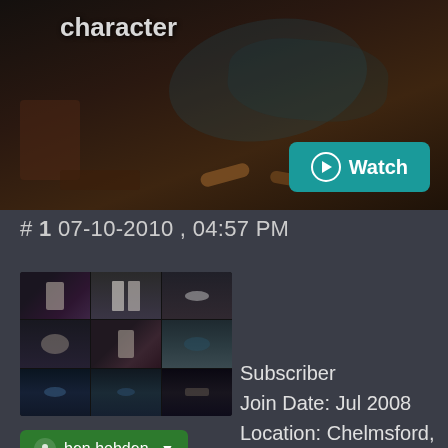[Figure (screenshot): Dark dramatic hero image showing a gritty alleyway scene with graffiti and debris, with 'character' text overlay in top left and a teal Watch button in bottom right]
# 1 07-10-2010 , 04:57 PM
[Figure (photo): Avatar image grid showing multiple 3D character and environment renders in a mosaic collage]
ben hobden
Subscriber
Join Date: Jul 2008
Location: Chelmsford, Essex, UK